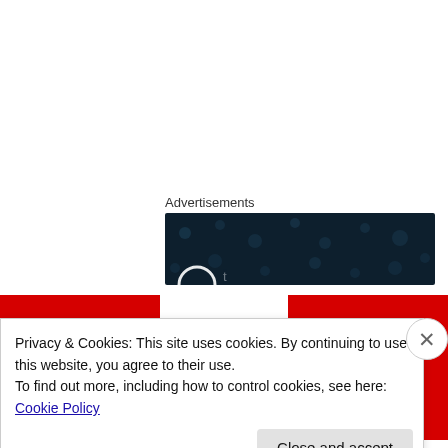Advertisements
[Figure (screenshot): Dark navy advertisement banner with dot/circle pattern and partial text visible]
[Figure (illustration): Canadian flag showing two red vertical bands on left and right with a red maple leaf in the center white band]
Privacy & Cookies: This site uses cookies. By continuing to use this website, you agree to their use.
To find out more, including how to control cookies, see here: Cookie Policy
Close and accept